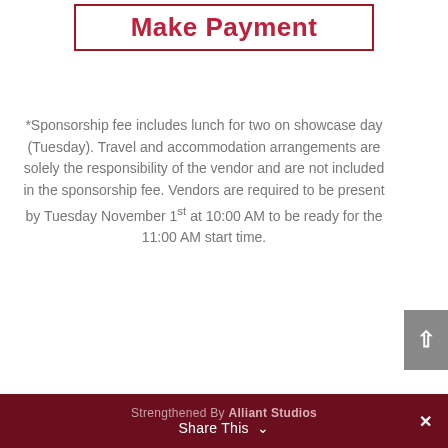Make Payment
*Sponsorship fee includes lunch for two on showcase day (Tuesday). Travel and accommodation arrangements are solely the responsibility of the vendor and are not included in the sponsorship fee. Vendors are required to be present by Tuesday November 1st at 10:00 AM to be ready for the 11:00 AM start time.
Strengthened By Alliant Studios | Share This